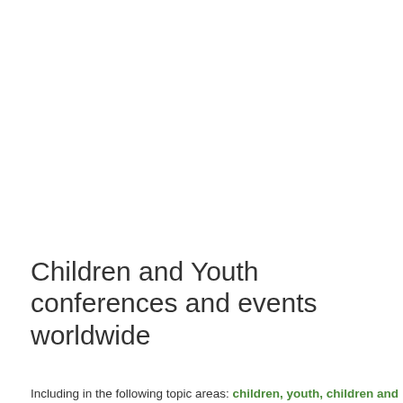Children and Youth conferences and events worldwide
Including in the following topic areas: children, youth, children and